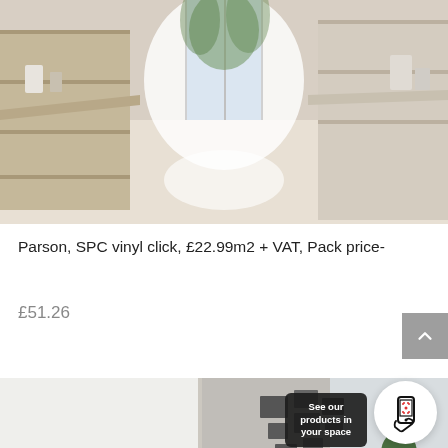[Figure (photo): Modern kitchen interior with light wood cabinetry and white surfaces, long hallway perspective with bright natural light]
Parson, SPC vinyl click, £22.99m2 + VAT, Pack price-
£51.26
[Figure (photo): Dining room interior with dark chairs around a round table, wall art collage, and a bowl of fruit. AR overlay shows 'See our products in your space' with a phone scanning icon.]